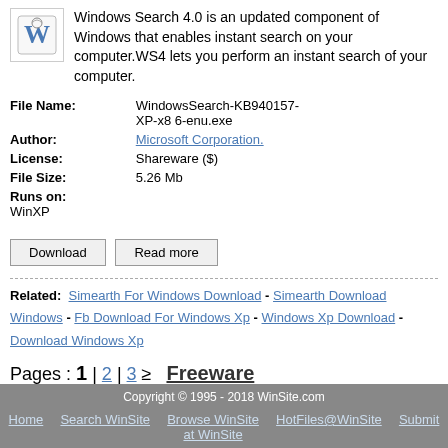Windows Search 4.0 is an updated component of Windows that enables instant search on your computer.WS4 lets you perform an instant search of your computer.
| File Name: | WindowsSearch-KB940157-XP-x8 6-enu.exe |
| Author: | Microsoft Corporation. |
| License: | Shareware ($) |
| File Size: | 5.26 Mb |
| Runs on: | WinXP |
Download   Read more
Related: Simearth For Windows Download - Simearth Download Windows - Fb Download For Windows Xp - Windows Xp Download - Download Windows Xp
Pages : 1 | 2 | 3 ≥   Freeware
Copyright © 1995 - 2018 WinSite.com  Home  Search WinSite  Browse WinSite at WinSite  HotFiles@WinSite  Submit